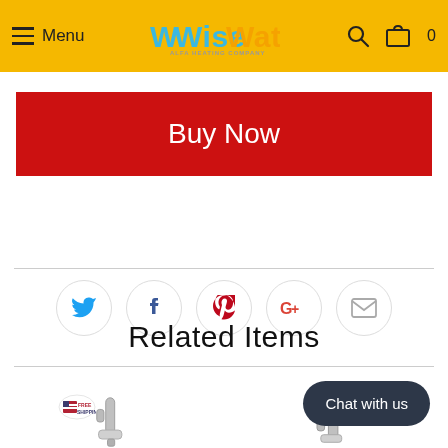Menu | WiseWater - ALFA HEATING COMPANY | Search | Cart 0
Buy Now
[Figure (infographic): Social sharing icons row: Twitter (blue bird), Facebook (f), Pinterest (P), Google+ (G+), Email (envelope) — each inside a light gray circle outline]
Related Items
[Figure (photo): Two product thumbnail images of chrome water filter faucets with FREE SHIPPING badge, partially visible at bottom of page]
Chat with us